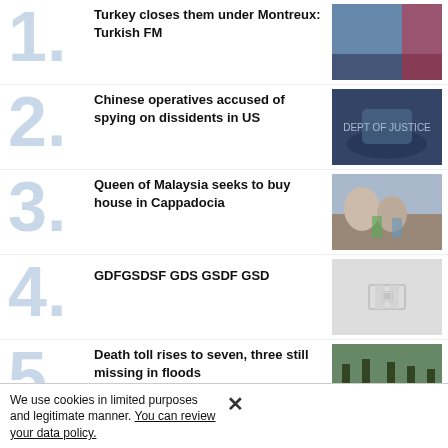Turkey closes them under Montreux: Turkish FM
[Figure (photo): Man in suit at podium with Turkish flag]
Chinese operatives accused of spying on dissidents in US
[Figure (photo): Man speaking at Department of Justice podium]
Queen of Malaysia seeks to buy house in Cappadocia
[Figure (photo): Two women standing in front of Cappadocia rock landscape]
GDFGSDSF GDS GSDF GSD
[Figure (photo): Placeholder image with grey icon]
Death toll rises to seven, three still missing in floods
[Figure (photo): Flood scene with trees]
We use cookies in limited purposes and legitimate manner. You can review your data policy.